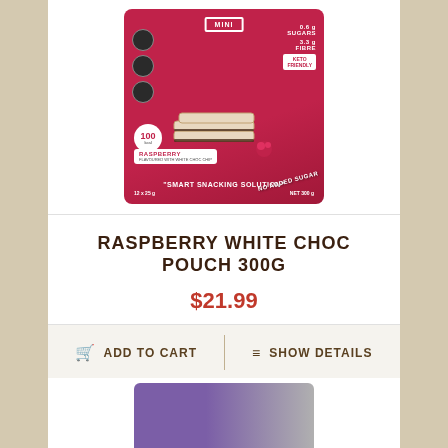[Figure (photo): Raspberry White Choc protein bar pouch package, pink/red bag, 12x25g, NET 300g, 'Smart Snacking Solution', No Added Sugar, Keto Friendly label]
RASPBERRY WHITE CHOC POUCH 300G
$21.99
ADD TO CART
SHOW DETAILS
[Figure (photo): Partial view of a second product pouch in purple and silver/grey colors at the bottom of the page]